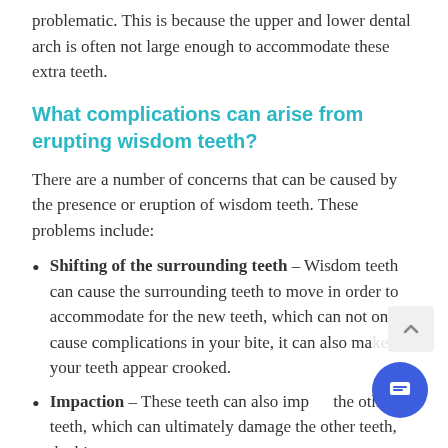problematic. This is because the upper and lower dental arch is often not large enough to accommodate these extra teeth.
What complications can arise from erupting wisdom teeth?
There are a number of concerns that can be caused by the presence or eruption of wisdom teeth. These problems include:
Shifting of the surrounding teeth – Wisdom teeth can cause the surrounding teeth to move in order to accommodate for the new teeth, which can not only cause complications in your bite, it can also make your teeth appear crooked.
Impaction – These teeth can also impact the other teeth, which can ultimately damage the other teeth, the bite structure